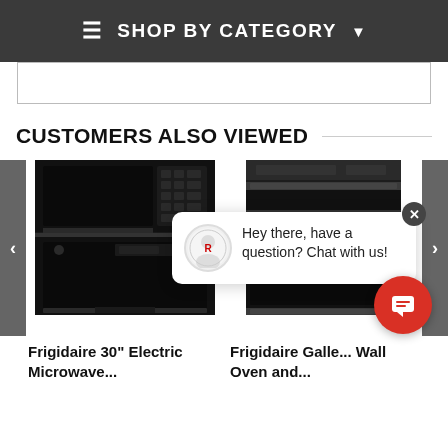≡  SHOP BY CATEGORY ▾
CUSTOMERS ALSO VIEWED
[Figure (photo): Frigidaire 30" Electric Microwave combination wall oven in black]
Frigidaire 30" Electric Microwave...
[Figure (photo): Frigidaire Gallery Wall Oven and... (partial view, black stainless)]
Frigidaire Galle... Wall Oven and...
[Figure (screenshot): Chat popup: Hey there, have a question? Chat with us!]